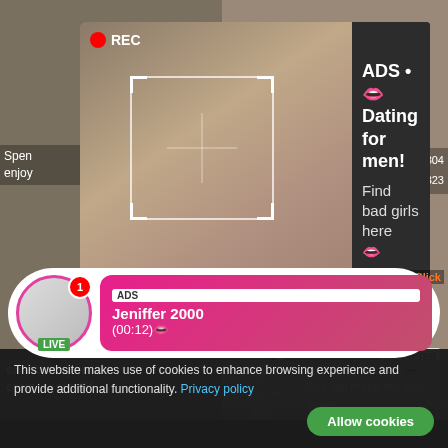[Figure (screenshot): Adult website screenshot with ad overlay showing a woman taking a selfie, REC indicator, and dating advertisement text. Below is a live notification bar for 'Jeniffer 2000', video thumbnails, and a cookie consent banner.]
ADS • 👄 Dating for men! Find bad girls here 👄
ADS Jeniffer 2000 (00:12)👄
chesty super-hot crazy real milf
74% 500
Live Sexy Models 👄 She will make the first move
Flirt4Free
This website makes use of cookies to enhance browsing experience and provide additional functionality. Privacy policy
Allow cookies